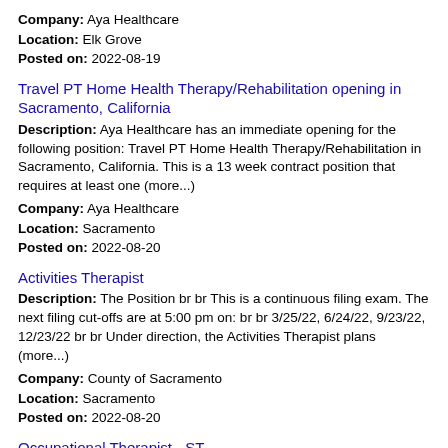Company: Aya Healthcare
Location: Elk Grove
Posted on: 2022-08-19
Travel PT Home Health Therapy/Rehabilitation opening in Sacramento, California
Description: Aya Healthcare has an immediate opening for the following position: Travel PT Home Health Therapy/Rehabilitation in Sacramento, California. This is a 13 week contract position that requires at least one (more...)
Company: Aya Healthcare
Location: Sacramento
Posted on: 2022-08-20
Activities Therapist
Description: The Position br br This is a continuous filing exam. The next filing cut-offs are at 5:00 pm on: br br 3/25/22, 6/24/22, 9/23/22, 12/23/22 br br Under direction, the Activities Therapist plans (more...)
Company: County of Sacramento
Location: Sacramento
Posted on: 2022-08-20
Occupational Therapist - ST
Description: Maxim Healthcare Staffing is seeking a Certified Occupational Therapist OT who, in collaboration with the multi-disciplinary team, develops a plan of care for each occupational